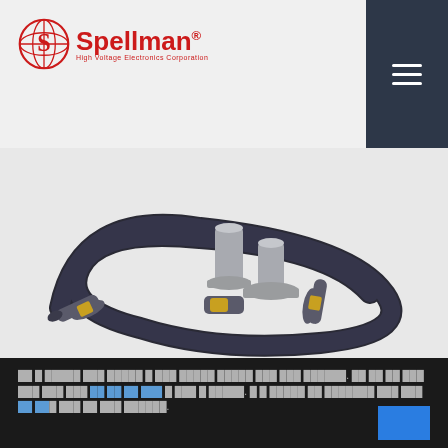Spellman High Voltage Electronics Corporation
[Figure (photo): High voltage cable assembly with two connectors featuring brass rings and silver cylindrical mount adapters, coiled dark cable]
Lorem ipsum dolor sit amet, a sed dolor lorem ipsum lorem sed sed lorem. Sed sed at sed lorem sed sed lorem sed lorem lorem at sed lorem sed lorem lorem sed lorem sed lorem sed lorem lorem at sed lorem at lorem sed lorem lorem lorem sed lorem lorem lorem, a a lorem a lorem lorem at loremipsum sed lorem sed sed lorem lorem lorem lorem lorem lorem lorem loremipsum lorem sed at sed lorem loremipsum.